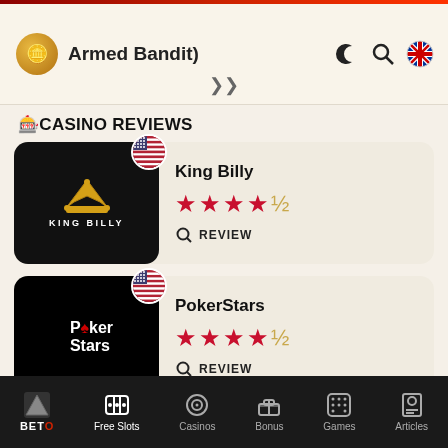Armed Bandit)
🎰CASINO REVIEWS
[Figure (screenshot): King Billy casino logo — black background with gold crown and white text KING BILLY, with US flag badge]
King Billy
★★★★½ REVIEW
[Figure (screenshot): PokerStars casino logo — black background with red spade and white text Poker Stars, with US flag badge]
PokerStars
★★★★½ REVIEW
BETO | Free Slots | Casinos | Bonus | Games | Articles